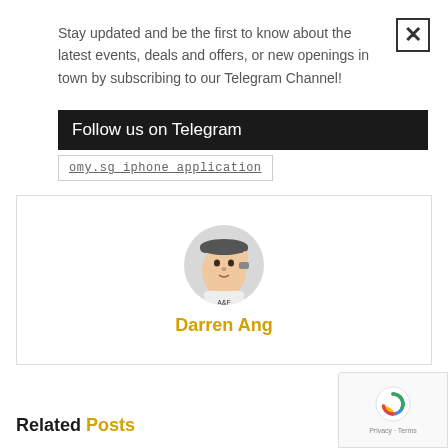Stay updated and be the first to know about the latest events, deals and offers, or new openings in town by subscribing to our Telegram Channel!
Follow us on Telegram
omy.sg iphone application
[Figure (photo): Circular profile photo of Darren Ang, a young man wearing a cap and a white A&F shirt, with a watch on his wrist, hand raised near his head]
Darren Ang
Related Posts